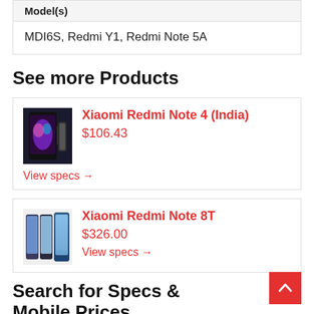| Model(s) |
| --- |
| MDI6S, Redmi Y1, Redmi Note 5A |
See more Products
Xiaomi Redmi Note 4 (India)
$106.43
View specs →
Xiaomi Redmi Note 8T
$326.00
View specs →
Search for Specs & Mobile Prices